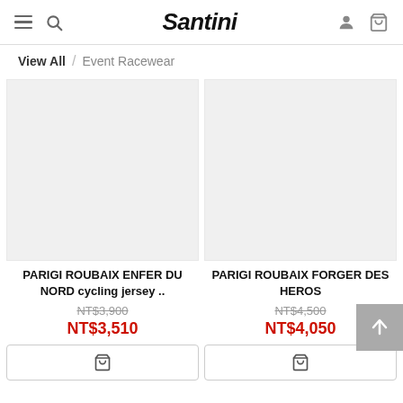Santini — View All / Event Racewear
View All / Event Racewear
[Figure (screenshot): Product image placeholder for PARIGI ROUBAIX ENFER DU NORD cycling jersey]
PARIGI ROUBAIX ENFER DU NORD cycling jersey ..
NT$3,900 (strikethrough original price)
NT$3,510 (sale price)
[Figure (screenshot): Product image placeholder for PARIGI ROUBAIX FORGER DES HEROS]
PARIGI ROUBAIX FORGER DES HEROS
NT$4,500 (strikethrough original price)
NT$4,050 (sale price)